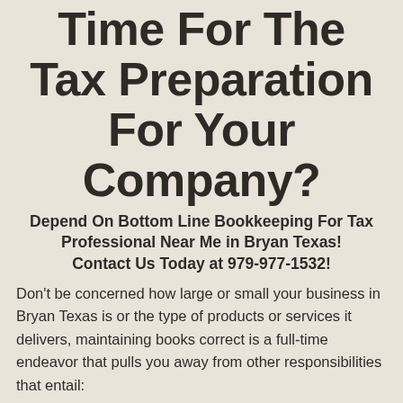Time For The Tax Preparation For Your Company?
Depend On Bottom Line Bookkeeping For Tax Professional Near Me in Bryan Texas!
Contact Us Today at 979-977-1532!
Don't be concerned how large or small your business in Bryan Texas is or the type of products or services it delivers, maintaining books correct is a full-time endeavor that pulls you away from other responsibilities that entail:
Satisfying client needs with useful products or services.
Selling such products or services virtually to